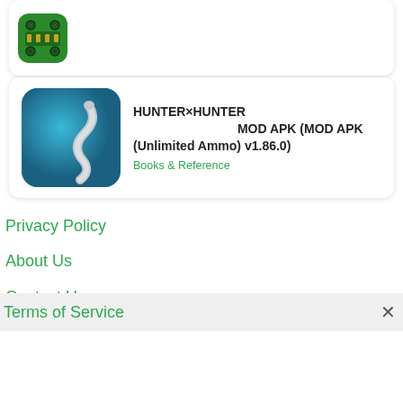[Figure (screenshot): Top card with green circuit board app icon, partially visible]
[Figure (screenshot): App listing card: HUNTER×HUNTER MOD APK (MOD APK (Unlimited Ammo) v1.86.0) with worm/nematode image on teal background, Books & Reference category]
HUNTER×HUNTER 　　　　　　　　　　 MOD APK (MOD APK (Unlimited Ammo) v1.86.0)
Books & Reference
Privacy Policy
About Us
Contact Us
Terms of Service